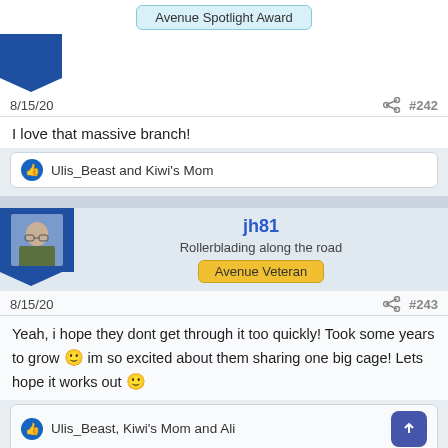Avenue Spotlight Award
8/15/20  #242
I love that massive branch!
Ulis_Beast and Kiwi's Mom
jh81
Rollerblading along the road
Avenue Veteran
8/15/20  #243
Yeah, i hope they dont get through it too quickly! Took some years to grow 🙂 im so excited about them sharing one big cage! Lets hope it works out 🙂
Ulis_Beast, Kiwi's Mom and Ali